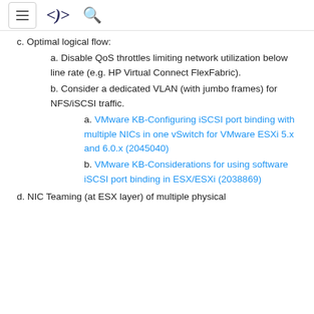c. Optimal logical flow:
a. Disable QoS throttles limiting network utilization below line rate (e.g. HP Virtual Connect FlexFabric).
b. Consider a dedicated VLAN (with jumbo frames) for NFS/iSCSI traffic.
a. VMware KB-Configuring iSCSI port binding with multiple NICs in one vSwitch for VMware ESXi 5.x and 6.0.x (2045040)
b. VMware KB-Considerations for using software iSCSI port binding in ESX/ESXi (2038869)
d. NIC Teaming (at ESX layer) of multiple physical